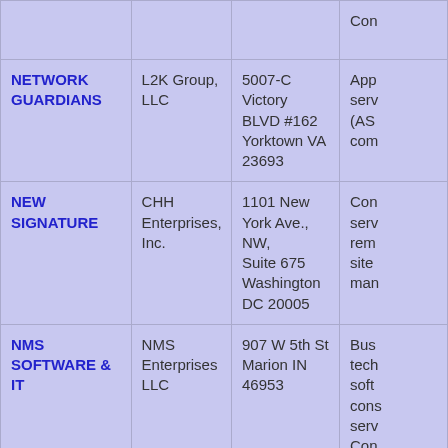| Name | Entity | Address | Description |
| --- | --- | --- | --- |
|  |  |  | Con... |
| NETWORK GUARDIANS | L2K Group, LLC | 5007-C Victory BLVD #162 Yorktown VA 23693 | App... serv... (AS... com... |
| NEW SIGNATURE | CHH Enterprises, Inc. | 1101 New York Ave., NW, Suite 675 Washington DC 20005 | Con... serv... rem... site... man... |
| NMS SOFTWARE & IT | NMS Enterprises LLC | 907 W 5th St Marion IN 46953 | Bus... tech... soft... cons... serv... Con... |
| NUAGE GUARD | L2K Group, LLC | 5007-C Victory BLVD #162 Yorktown VA ... | Adv... to th... |